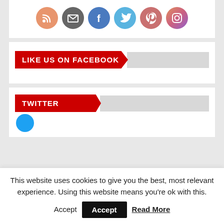[Figure (illustration): Row of six social media icon circles: RSS (orange), Email (dark gray), Facebook (blue), Twitter (light blue), Pinterest (pink/red), Instagram (pink/purple gradient)]
[Figure (infographic): Red banner button with chevron arrow shape reading LIKE US ON FACEBOOK, next to a gray bar]
[Figure (infographic): Red banner button with chevron arrow shape reading TWITTER, next to a gray bar, with a blue Twitter avatar circle below]
This website uses cookies to give you the best, most relevant experience. Using this website means you're ok with this.
Accept
Read More